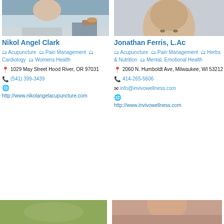[Figure (photo): Photo of Nikol Angel Clark - partial view of person at table with mugs]
Nikol Angel Clark
Acupuncture  Pain Management  Cardiology  Womens Health
1029 May Street Hood River, OR 97031
(541) 399-3439
http://www.nikolangelacupuncture.com
[Figure (photo): Photo of Jonathan Ferris - smiling man with beard]
Jonathan Ferris, L.Ac
Acupuncture  Pain Management  Herbs & Nutrition  Mental, Emotional Health
2060 N. Humboldt Ave, Milwaukee, WI 53212
414-265-5606
info@invivowellness.com
http://www.invivowellness.com
[Figure (photo): Partial photo at bottom left - green/nature tones]
[Figure (photo): Partial photo at bottom right - person portrait]